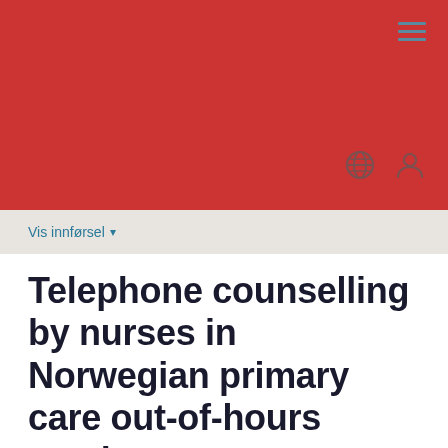[Figure (screenshot): Red header banner with hamburger menu icon, globe icon, and user icon]
Vis innførsel ▾
Telephone counselling by nurses in Norwegian primary care out-of-hours services: a cross-sectional study
Midtbø, Vivian; Raknes, Guttorm; Hunskaar, Steinar